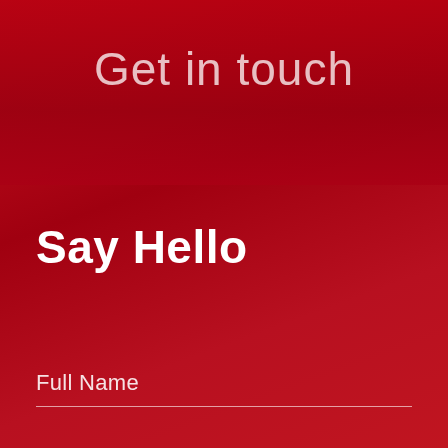Get in touch
Say Hello
Full Name
E-mail
[Figure (other): Circular submit/upload button with upward arrow icon, white circle outline on red background]
Telephone